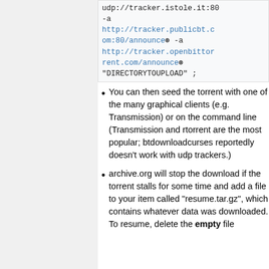udp://tracker.istole.it:80 -a http://tracker.publicbt.com:80/announce -a http://tracker.openbittorent.com/announce "DIRECTORYTOUPLOAD" ;
You can then seed the torrent with one of the many graphical clients (e.g. Transmission) or on the command line (Transmission and rtorrent are the most popular; btdownloadcurses reportedly doesn't work with udp trackers.)
archive.org will stop the download if the torrent stalls for some time and add a file to your item called "resume.tar.gz", which contains whatever data was downloaded. To resume, delete the empty file